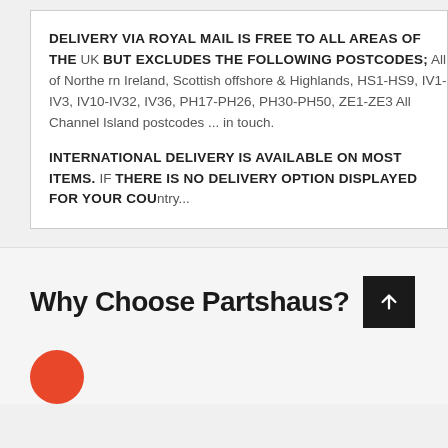DELIVERY VIA ROYAL MAIL IS FREE TO ALL AREAS OF THE UK BUT EXCLUDES THE FOLLOWING POSTCODES; All of Northern Ireland, Scottish offshore & Highlands, HS1-HS9, IV1-IV3, IV10-IV32, IV36, PH17-PH26, PH30-PH50, ZE1-ZE3 All Channel Island postcodes ... in touch.
INTERNATIONAL DELIVERY IS AVAILABLE ON MOST ITEMS. IF THERE IS NO DELIVERY OPTION DISPLAYED FOR YOUR COUNTRY...
Why Choose Partshaus?